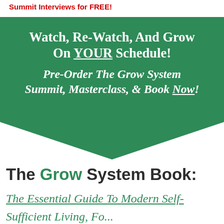Summit Interviews for FREE!
[Figure (infographic): Green downward-pointing chevron/banner shape containing promotional text about watching summit content on your schedule]
Watch, Re-Watch, And Grow On YOUR Schedule! Pre-Order The Grow System Summit, Masterclass, & Book Now!
The Grow System Book:
The Essential Guide To Modern Self-
Sufficient Living, Fo...